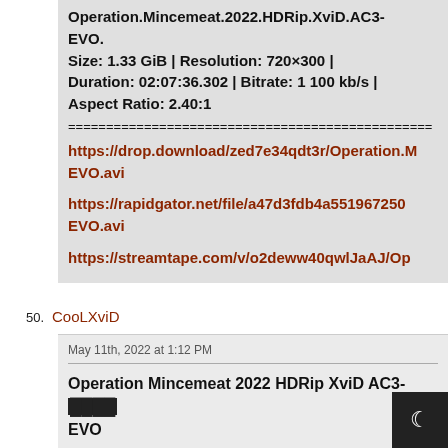Operation.Mincemeat.2022.HDRip.XviD.AC3-EVO.
Size: 1.33 GiB | Resolution: 720×300 | Duration: 02:07:36.302 | Bitrate: 1 100 kb/s | Aspect Ratio: 2.40:1
==================================================
https://drop.download/zed7e34qdt3r/Operation.…EVO.avi
https://rapidgator.net/file/a47d3fdb4a551967250…EVO.avi
https://streamtape.com/v/o2deww40qwlJaAJ/Op…
50. CooLXviD
May 11th, 2022 at 1:12 PM
Operation Mincemeat 2022 HDRip XviD AC3-EVO